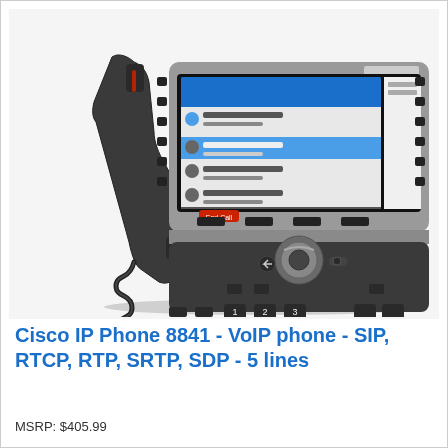[Figure (photo): Cisco IP Phone 8841 VoIP desk phone with color LCD display showing contacts/call interface in blue, black handset with coiled cord, numeric keypad, navigation buttons, and silver/black base unit.]
Cisco IP Phone 8841 - VoIP phone - SIP, RTCP, RTP, SRTP, SDP - 5 lines
MSRP: $405.99